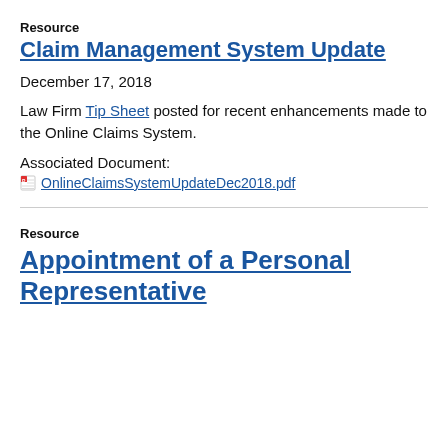Resource
Claim Management System Update
December 17, 2018
Law Firm Tip Sheet posted for recent enhancements made to the Online Claims System.
Associated Document:
OnlineClaimsSystemUpdateDec2018.pdf
Resource
Appointment of a Personal Representative